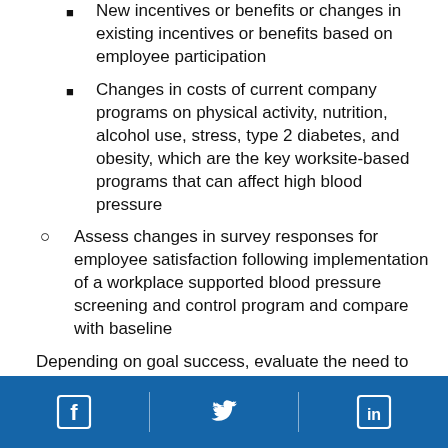New incentives or benefits or changes in existing incentives or benefits based on employee participation
Changes in costs of current company programs on physical activity, nutrition, alcohol use, stress, type 2 diabetes, and obesity, which are the key worksite-based programs that can affect high blood pressure
Assess changes in survey responses for employee satisfaction following implementation of a workplace supported blood pressure screening and control program and compare with baseline
Depending on goal success, evaluate the need to
[Figure (infographic): Footer bar with Facebook, Twitter, and LinkedIn social media icons on a blue background]